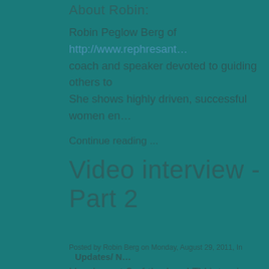About Robin:
Robin Peglow Berg of http://www.rephresant... coach and speaker devoted to guiding others to...
She shows highly driven, successful women en...
Continue reading ...
Video interview -Part 2
Posted by Robin Berg on Monday, August 29, 2011, In   Updates/ N...
Here's part 2 of the local TV interview with Ta...
Enjoy!